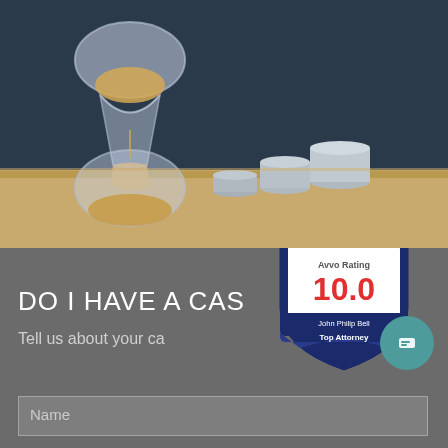[Figure (photo): Photo of an hourglass with sand and stacks of coins on a wooden surface with dark background]
DO I HAVE A CAS
Tell us about your ca
[Figure (infographic): Avvo Rating badge showing 10.0 score for John Philip Bell, Top Attorney]
Name